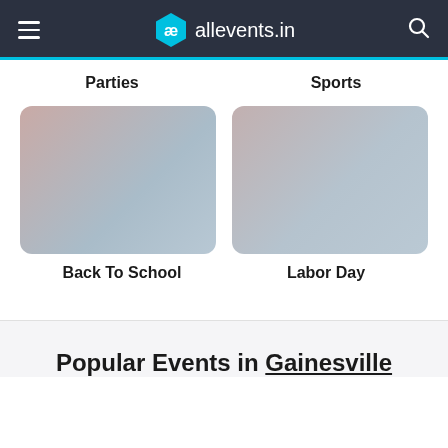allevents.in
Parties
Sports
[Figure (photo): Back To School event card image with muted pink-blue gradient]
[Figure (photo): Labor Day event card image with muted pink-blue gradient]
Back To School
Labor Day
Popular Events in Gainesville